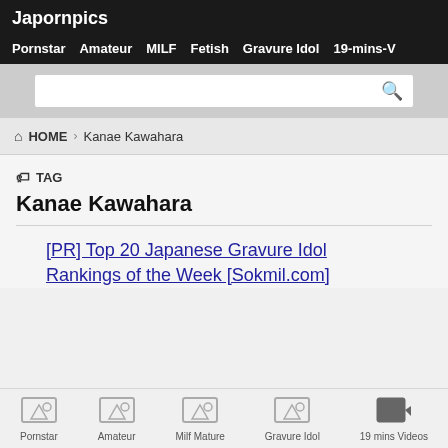Japornpics
Pornstar  Amateur  MILF  Fetish  Gravure Idol  19-mins-V
HOME > Kanae Kawahara
TAG
Kanae Kawahara
[PR] Top 20 Japanese Gravure Idol Rankings of the Week [Sokmil.com]
Pornstar  Amateur  Milf Mature  Gravure Idol  19 mins Videos